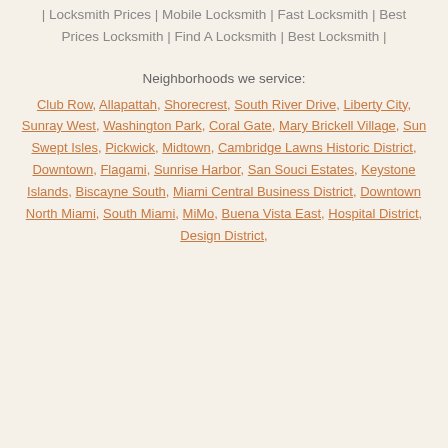| Locksmith Prices | Mobile Locksmith | Fast Locksmith | Best Prices Locksmith | Find A Locksmith | Best Locksmith |
Neighborhoods we service:
Club Row, Allapattah, Shorecrest, South River Drive, Liberty City, Sunray West, Washington Park, Coral Gate, Mary Brickell Village, Sun Swept Isles, Pickwick, Midtown, Cambridge Lawns Historic District, Downtown, Flagami, Sunrise Harbor, San Souci Estates, Keystone Islands, Biscayne South, Miami Central Business District, Downtown North Miami, South Miami, MiMo, Buena Vista East, Hospital District, Design District,